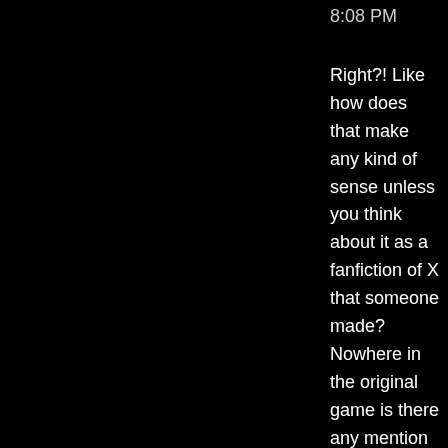8:08 PM
Right?! Like how does that make any kind of sense unless you think about it as a fanfiction of X that someone made? Nowhere in the original game is there any mention of pop singing. Do they eve have radios? No, how would they since that would be